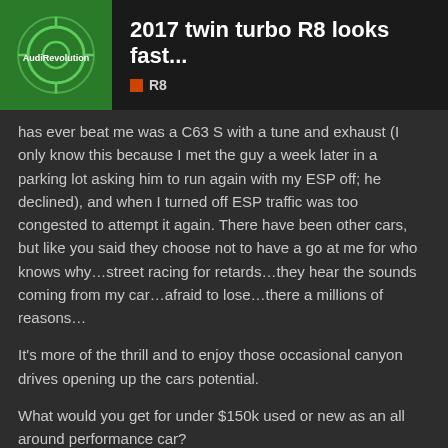2017 twin turbo R8 looks fast... R8
has ever beat me was a C63 S with a tune and exhaust (I only know this because I met the guy a week later in a parking lot asking him to run again with my ESP off; he declined), and when I turned off ESP traffic was too congested to attempt it again. There have been other cars, but like you said they choose not to have a go at me for who knows why…street racing for retards…they hear the sounds coming from my car…afraid to lose…there a millions of reasons…
It's more of the thrill and to enjoy those occasional canyon drives opening up the cars potential.
What would you get for under $150k used or new as an all around performance car?
9 MONTHS LATER   11 / 13